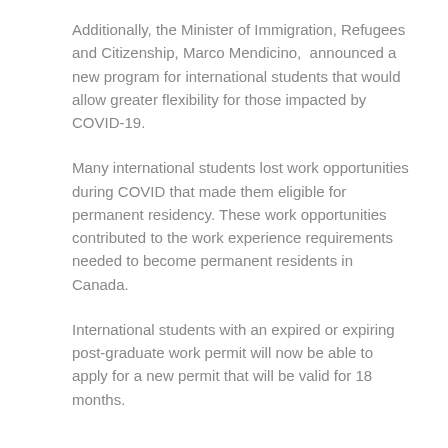Additionally, the Minister of Immigration, Refugees and Citizenship, Marco Mendicino,  announced a new program for international students that would allow greater flexibility for those impacted by COVID-19.
Many international students lost work opportunities during COVID that made them eligible for permanent residency. These work opportunities contributed to the work experience requirements needed to become permanent residents in Canada.
International students with an expired or expiring post-graduate work permit will now be able to apply for a new permit that will be valid for 18 months.